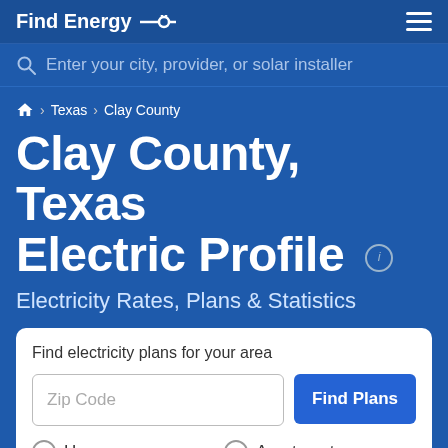Find Energy
Enter your city, provider, or solar installer
Home › Texas › Clay County
Clay County, Texas Electric Profile
Electricity Rates, Plans & Statistics
Find electricity plans for your area
Zip Code
Find Plans
House
Apartment